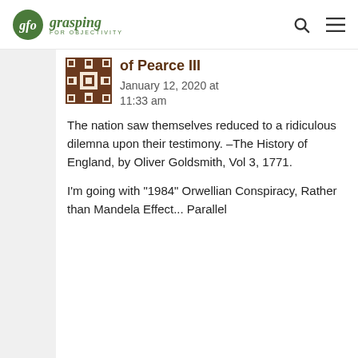gfo grasping FOR OBJECTIVITY
[Figure (logo): Grasping for Objectivity blog logo with green circle and italic text]
of Pearce III
January 12, 2020 at 11:33 am
The nation saw themselves reduced to a ridiculous dilemna upon their testimony. –The History of England, by Oliver Goldsmith, Vol 3, 1771.
I'm going with "1984" Orwellian Conspiracy, Rather than Mandela Effect... Parallel